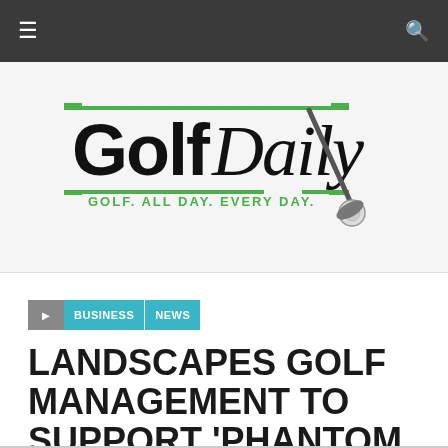Golf Daily — Navigation bar with hamburger menu and search icon
[Figure (logo): Golf Daily logo with tagline 'GOLF. ALL DAY. EVERY DAY.' featuring a golf club and ball graphic, green horizontal lines above and below text]
BUSINESS NEWS
LANDSCAPES GOLF MANAGEMENT TO SUPPORT 'PHANTOM OF THE OPEN'